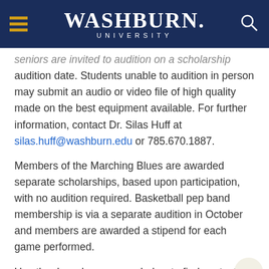WASHBURN UNIVERSITY
seniors are invited to audition on a scholarship audition date. Students unable to audition in person may submit an audio or video file of high quality made on the best equipment available. For further information, contact Dr. Silas Huff at silas.huff@washburn.edu or 785.670.1887.
Members of the Marching Blues are awarded separate scholarships, based upon participation, with no audition required. Basketball pep band membership is via a separate audition in October and members are awarded a stipend for each game performed.
Use the drop-down menus below to find contact